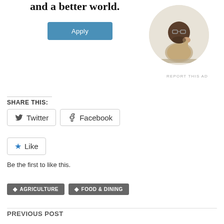[Figure (illustration): Ad section showing bold serif text 'and a better world.', a blue Apply button, and a circular photo of a man thinking at a desk, with 'REPORT THIS AD' text below.]
SHARE THIS:
Twitter   Facebook
Like
Be the first to like this.
AGRICULTURE
FOOD & DINING
PREVIOUS POST